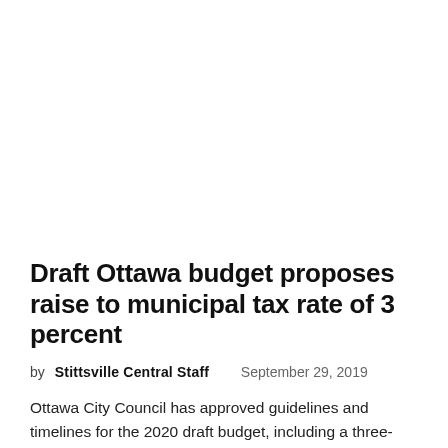Draft Ottawa budget proposes raise to municipal tax rate of 3 percent
by Stittsville Central Staff   September 29, 2019
Ottawa City Council has approved guidelines and timelines for the 2020 draft budget, including a three-per-cent overall increase to the municipal tax rate. The three-per-cent increase would address the financial pressures facing